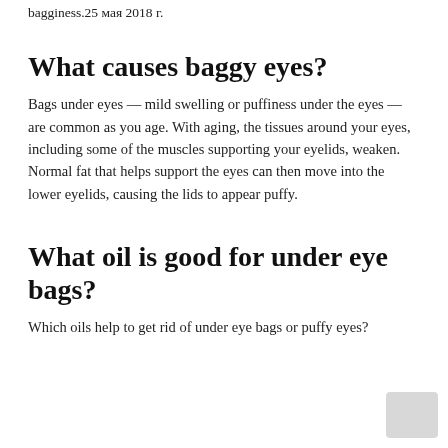bagginess.25 мая 2018 г.
What causes baggy eyes?
Bags under eyes — mild swelling or puffiness under the eyes — are common as you age. With aging, the tissues around your eyes, including some of the muscles supporting your eyelids, weaken. Normal fat that helps support the eyes can then move into the lower eyelids, causing the lids to appear puffy.
What oil is good for under eye bags?
Which oils help to get rid of under eye bags or puffy eyes?